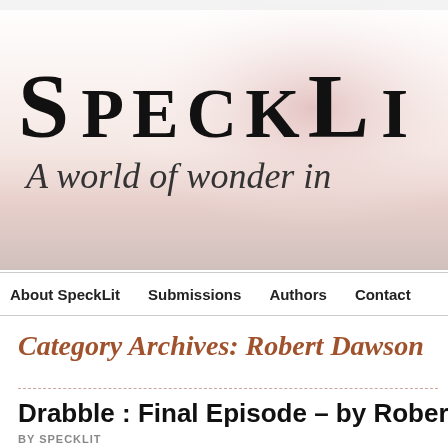[Figure (illustration): SpeckLit website banner with large serif site title 'SpeckLit' and italic tagline 'A world of wonder in...' on a white-to-light-rose gradient background]
About SpeckLit   Submissions   Authors   Contact
Category Archives: Robert Dawson
Drabble : Final Episode – by Robert Da
BY SPECKLIT